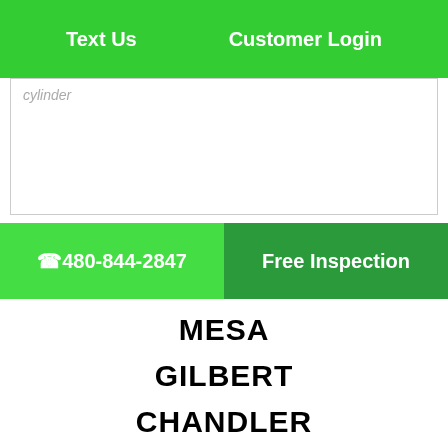Text Us    Customer Login
[Figure (screenshot): Partially visible form input field with placeholder text 'cylinder']
📞 480-844-2847
Free Inspection
MESA
GILBERT
CHANDLER
TEMPE